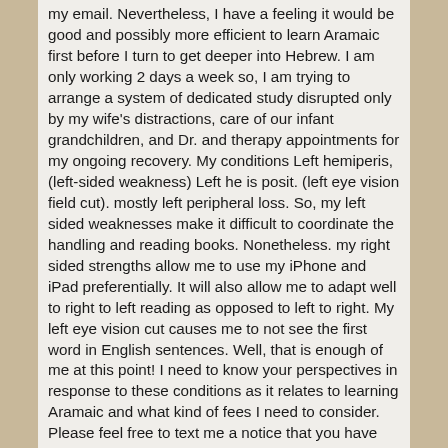my email. Nevertheless, I have a feeling it would be good and possibly more efficient to learn Aramaic first before I turn to get deeper into Hebrew. I am only working 2 days a week so, I am trying to arrange a system of dedicated study disrupted only by my wife's distractions, care of our infant grandchildren, and Dr. and therapy appointments for my ongoing recovery. My conditions Left hemiperis,(left-sided weakness) Left he is posit. (left eye vision field cut). mostly left peripheral loss. So, my left sided weaknesses make it difficult to coordinate the handling and reading books. Nonetheless. my right sided strengths allow me to use my iPhone and iPad preferentially. It will also allow me to adapt well to right to left reading as opposed to left to right. My left eye vision cut causes me to not see the first word in English sentences. Well, that is enough of me at this point! I need to know your perspectives in response to these conditions as it relates to learning Aramaic and what kind of fees I need to consider. Please feel free to text me a notice that you have answered this message or sent me an email so I will not